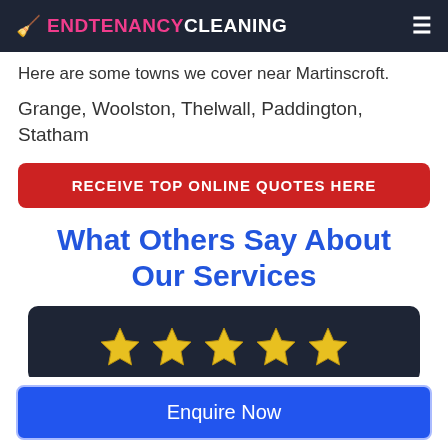ENDTENANCYCLEANING
Here are some towns we cover near Martinscroft.
Grange, Woolston, Thelwall, Paddington, Statham
RECEIVE TOP ONLINE QUOTES HERE
What Others Say About Our Services
[Figure (other): Five gold stars rating display on dark navy background]
Enquire Now